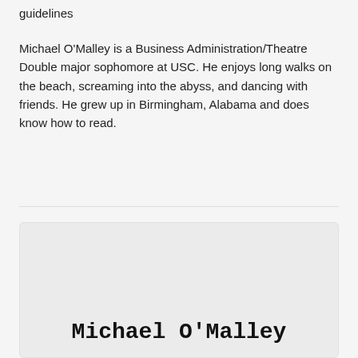guidelines
Michael O'Malley is a Business Administration/Theatre Double major sophomore at USC. He enjoys long walks on the beach, screaming into the abyss, and dancing with friends. He grew up in Birmingham, Alabama and does know how to read.
Michael O'Malley